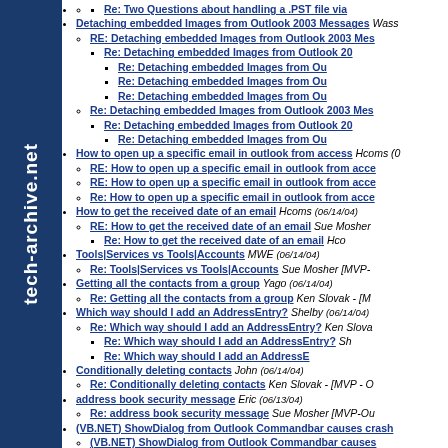[Figure (other): Dark blue sidebar with tech-archive.net text rotated vertically]
Re: Two Questions about handling a .PST file via
Detaching embedded Images from Outlook 2003 Messages Wass
RE: Detaching embedded Images from Outlook 2003 Mes
Re: Detaching embedded Images from Outlook 20
Re: Detaching embedded Images from Ou
Re: Detaching embedded Images from Ou
Re: Detaching embedded Images from Ou
Re: Detaching embedded Images from Outlook 2003 Mes
Re: Detaching embedded Images from Outlook 20
Re: Detaching embedded Images from Ou
How to open up a specific email in outlook from access Hcoms (0
RE: How to open up a specific email in outlook from acce
RE: How to open up a specific email in outlook from acce
Re: How to open up a specific email in outlook from acce
How to get the received date of an email Hcoms (06/14/04)
RE: How to get the received date of an email Sue Mosher
Re: How to get the received date of an email Hco
Tools|Services vs Tools|Accounts MWE (06/14/04)
Re: Tools|Services vs Tools|Accounts Sue Mosher [MVP-
Getting all the contacts from a group Yago (06/14/04)
Re: Getting all the contacts from a group Ken Slovak - [M
Which way should I add an AddressEntry? Shelby (06/14/04)
Re: Which way should I add an AddressEntry? Ken Slova
Re: Which way should I add an AddressEntry? Sh
Re: Which way should I add an AddressE
Conditionally deleting contacts John (06/14/04)
Re: Conditionally deleting contacts Ken Slovak - [MVP - O
address book security message Eric (06/13/04)
Re: address book security message Sue Mosher [MVP-Ou
(VB.NET) ShowDialog from Outlook Commandbar causes crash
(VB.NET) ShowDialog from Outlook Commandbar causes
Simple Question Michael Mahony (06/13/04)
Re: Simple Question Sue Mosher [MVP-Outlook] (06/13/04)
Re: Simple Question Michael Mahony (06/14/04)
This item contains active content that cannot be displayed in the
Re: This item contains active content that cannot be disp Slovak - [MVP - Outlook] (06/11/04)